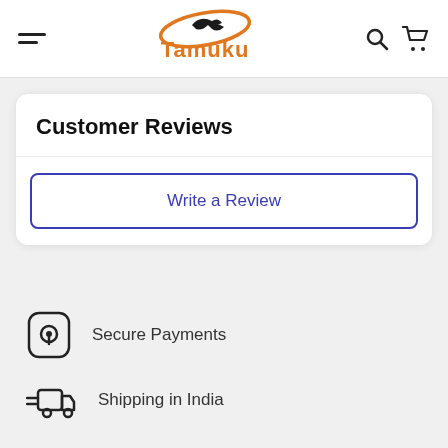[Figure (logo): Tamuku logo with orange text and stylized bird graphic in center header]
Customer Reviews
Write a Review
Secure Payments
Shipping in India
Great Value & Quality